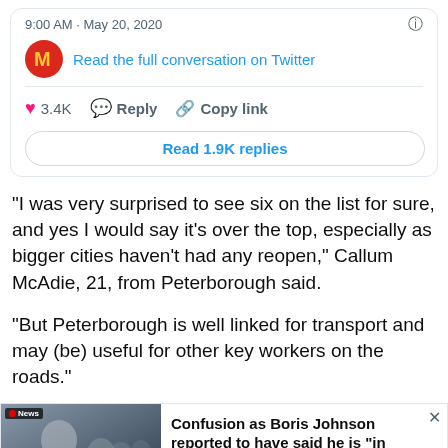[Figure (screenshot): Twitter/X tweet card showing 9:00 AM · May 20, 2020 timestamp, McDonald's logo, 'Read the full conversation on Twitter' link, 3.4K likes, Reply and Copy link actions, Read 1.9K replies button]
“I was very surprised to see six on the list for sure, and yes I would say it’s over the top, especially as bigger cities haven’t had any reopen,” Callum McAdie, 21, from Peterborough said.
“But Peterborough is well linked for transport and may (be) useful for other key workers on the roads.”
[Figure (screenshot): News article banner with photo of Boris Johnson and headline: Confusion as Boris Johnson reported to have said he is "in favour of having people of..."]